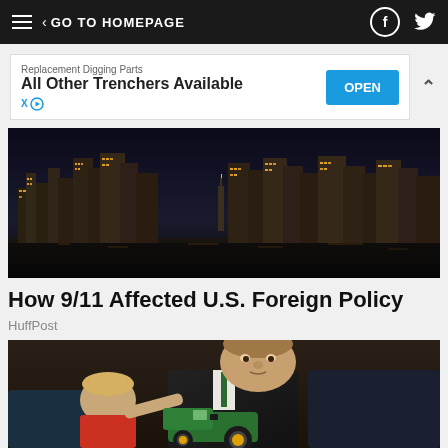≡  < GO TO HOMEPAGE  [facebook] [twitter]
[Figure (screenshot): Advertisement banner: 'Replacement Digging Parts / All Other Trenchers Available' with an OPEN button]
[Figure (photo): Night cityscape / skyline with city lights reflecting on water, Statue of Liberty visible]
How 9/11 Affected U.S. Foreign Policy
HuffPost
[Figure (photo): Man in suit holding a green John Deere toy tractor, with a young child beside him]